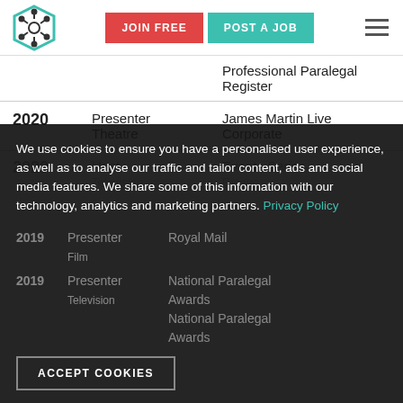JOIN FREE | POST A JOB
| Year | Role | Organisation |
| --- | --- | --- |
|  |  | Professional Paralegal Register |
| 2020 | Presenter
Theatre | James Martin Live Corporate |
| 2020 | Host
Television | Events Series
Diageo |
| 2019 | Presenter
Film | Royal Mail |
| 2019 | Presenter
Television | National Paralegal Awards
National Paralegal Awards |
We use cookies to ensure you have a personalised user experience, as well as to analyse our traffic and tailor content, ads and social media features. We share some of this information with our technology, analytics and marketing partners. Privacy Policy
ACCEPT COOKIES